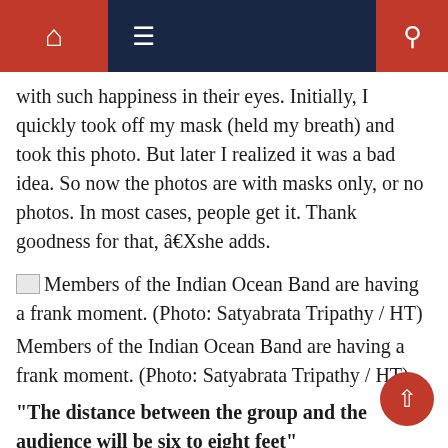Navigation bar with home, menu, and search icons
with such happiness in their eyes. Initially, I quickly took off my mask (held my breath) and took this photo. But later I realized it was a bad idea. So now the photos are with masks only, or no photos. In most cases, people get it. Thank goodness for that, â€she adds.
Members of the Indian Ocean Band are having a frank moment. (Photo: Satyabrata Tripathy / HT)
Members of the Indian Ocean Band are having a frank moment. (Photo: Satyabrata Tripathy / HT)
"The distance between the group and the audience will be six to eight feet"
Popular group Indian Ocean, which has been part of several e-concerts lately, has scheduled a number of live concerts in Delhi-NCR. Group member Himanshu Joshi says: â€œOn the group and group Place, the working is the strong